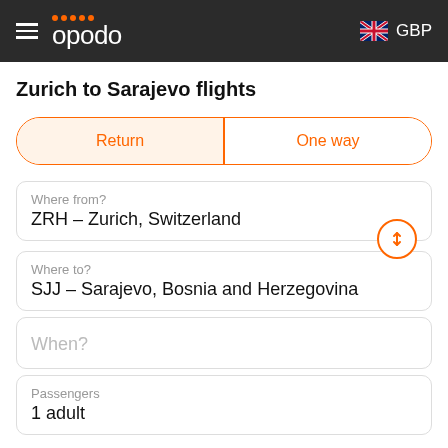opodo GBP
Zurich to Sarajevo flights
Return | One way
Where from?
ZRH – Zurich, Switzerland
Where to?
SJJ – Sarajevo, Bosnia and Herzegovina
When?
Passengers
1 adult